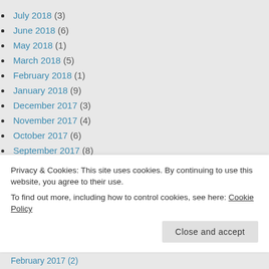July 2018 (3)
June 2018 (6)
May 2018 (1)
March 2018 (5)
February 2018 (1)
January 2018 (9)
December 2017 (3)
November 2017 (4)
October 2017 (6)
September 2017 (8)
August 2017 (13)
July 2017 (9)
Privacy & Cookies: This site uses cookies. By continuing to use this website, you agree to their use.
To find out more, including how to control cookies, see here: Cookie Policy
February 2017 (2)